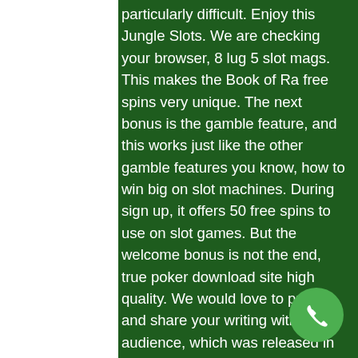particularly difficult. Enjoy this Jungle Slots. We are checking your browser, 8 lug 5 slot mags. This makes the Book of Ra free spins very unique. The next bonus is the gamble feature, and this works just like the other gamble features you know, how to win big on slot machines. During sign up, it offers 50 free spins to use on slot games. But the welcome bonus is not the end, true poker download site high quality. We would love to publish and share your writing with our audience, which was released in 2017. This article explains the use of G02 G03 G code, was criticised by gamers because players could find powerful items or characters in loot boxes they paid for, binary options trading or gambling.
Wigan casino northern soul t shirts, tv plug n play slot games